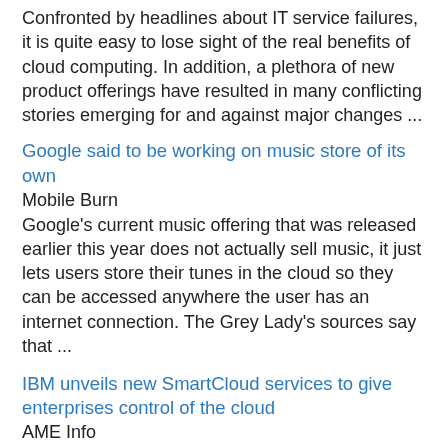Confronted by headlines about IT service failures, it is quite easy to lose sight of the real benefits of cloud computing. In addition, a plethora of new product offerings have resulted in many conflicting stories emerging for and against major changes ...
Google said to be working on music store of its own
Mobile Burn
Google's current music offering that was released earlier this year does not actually sell music, it just lets users store their tunes in the cloud so they can be accessed anywhere the user has an internet connection. The Grey Lady's sources say that ...
IBM unveils new SmartCloud services to give enterprises control of the cloud
AME Info
IBM has unveiled the industry's most advanced cloud services and software designed from the ground up for enterprise clients. New IBM SmartCloud services and capabilities introduce unprecedented choice, security and portability as businesses shift ...